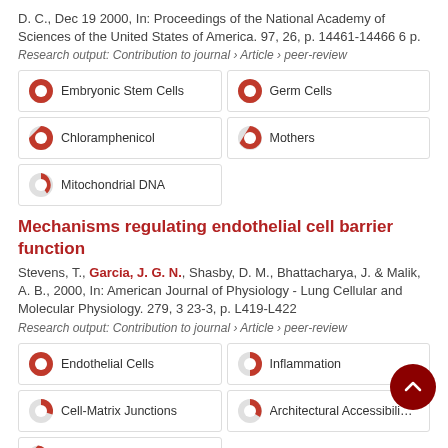D. C., Dec 19 2000, In: Proceedings of the National Academy of Sciences of the United States of America. 97, 26, p. 14461-14466 6 p.
Research output: Contribution to journal › Article › peer-review
[Figure (other): Keyword badges with pie icons: Embryonic Stem Cells (100%), Germ Cells (100%), Chloramphenicol (75%), Mothers (65%), Mitochondrial DNA (25%)]
Mechanisms regulating endothelial cell barrier function
Stevens, T., Garcia, J. G. N., Shasby, D. M., Bhattacharya, J. & Malik, A. B., 2000, In: American Journal of Physiology - Lung Cellular and Molecular Physiology. 279, 3 23-3, p. L419-L422
Research output: Contribution to journal › Article › peer-review
[Figure (other): Keyword badges with pie icons: Endothelial Cells (100%), Inflammation (60%), Cell-Matrix Junctions (55%), Architectural Accessibility (50%), partial badge visible at bottom]